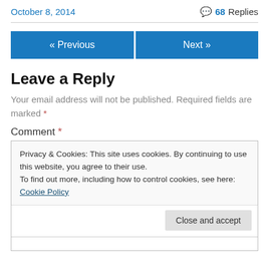October 8, 2014
68 Replies
« Previous   Next »
Leave a Reply
Your email address will not be published. Required fields are marked *
Comment *
Privacy & Cookies: This site uses cookies. By continuing to use this website, you agree to their use. To find out more, including how to control cookies, see here: Cookie Policy
Close and accept